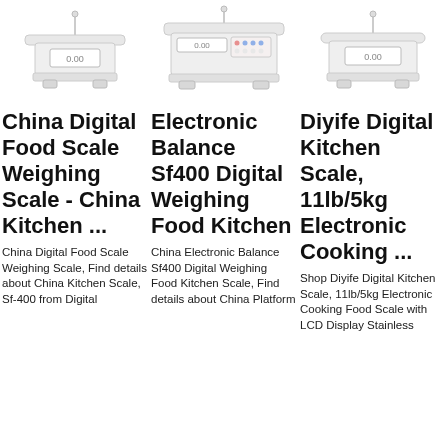[Figure (photo): Photo of a white digital kitchen scale, top portion visible]
China Digital Food Scale Weighing Scale - China Kitchen ...
China Digital Food Scale Weighing Scale, Find details about China Kitchen Scale, Sf-400 from Digital
[Figure (photo): Photo of a white electronic balance scale with keypad, top portion visible]
Electronic Balance Sf400 Digital Weighing Food Kitchen
China Electronic Balance Sf400 Digital Weighing Food Kitchen Scale, Find details about China Platform
[Figure (photo): Photo of a white digital kitchen scale, top portion visible]
Diyife Digital Kitchen Scale, 11lb/5kg Electronic Cooking ...
Shop Diyife Digital Kitchen Scale, 11lb/5kg Electronic Cooking Food Scale with LCD Display Stainless